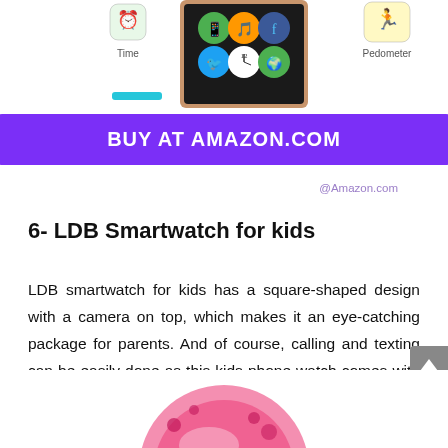[Figure (illustration): Top portion of a product page showing app icons (Time, Pedometer) and a smartwatch with colorful app icons on screen, partially visible]
[Figure (illustration): Purple rounded rectangle button with white bold text: BUY AT AMAZON.COM]
@Amazon.com
6- LDB Smartwatch for kids
LDB smartwatch for kids has a square-shaped design with a camera on top, which makes it an eye-catching package for parents. And of course, calling and texting can be easily done as this kids phone watch comes with the easy two-way calling.
[Figure (photo): Bottom portion of a pink smartwatch with cartoon design, partially visible at bottom of page]